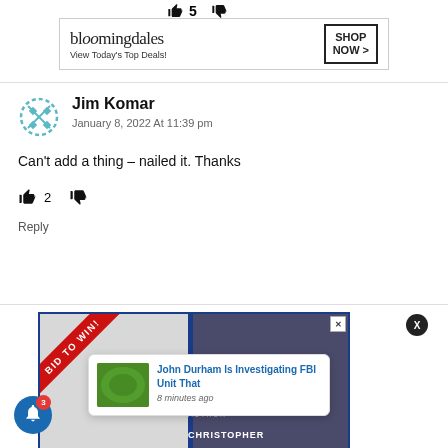[Figure (screenshot): Bloomingdale's advertisement banner: 'View Today's Top Deals! SHOP NOW >']
Jim Komar
January 8, 2022 At 11:39 pm
Can't add a thing – nailed it. Thanks
2
Reply
[Figure (screenshot): Bottom advertisement with 'BID TO WIN!' ribbon, author section showing 'AUTHOR CHRISTOPHER', and a notification popup: 'John Durham Is Investigating FBI Unit That' '8 minutes ago']